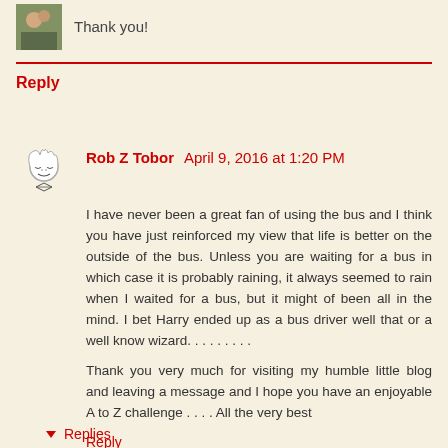Thank you!
Reply
Rob Z Tobor  April 9, 2016 at 1:20 PM
I have never been a great fan of using the bus and I think you have just reinforced my view that life is better on the outside of the bus. Unless you are waiting for a bus in which case it is probably raining, it always seemed to rain when I waited for a bus, but it might of been all in the mind. I bet Harry ended up as a bus driver well that or a well know wizard. . . . . . . . .
Thank you very much for visiting my humble little blog and leaving a message and I hope you have an enjoyable A to Z challenge . . . . All the very best
Reply
Replies